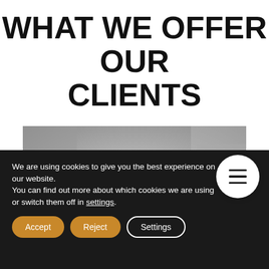WHAT WE OFFER OUR CLIENTS
[Figure (photo): Black and white photo of a man looking down, appears to be in a workshop or store environment with shelves in the background]
We are using cookies to give you the best experience on our website.
You can find out more about which cookies we are using or switch them off in settings.
Accept
Reject
Settings